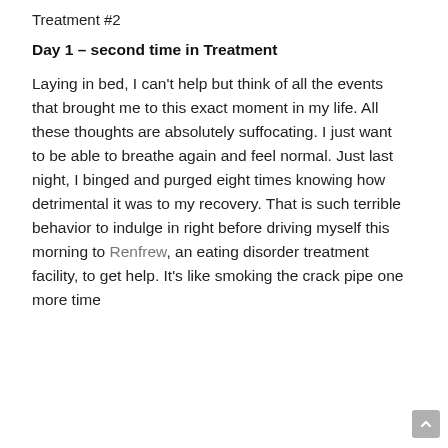Treatment #2
Day 1 – second time in Treatment
Laying in bed, I can't help but think of all the events that brought me to this exact moment in my life. All these thoughts are absolutely suffocating. I just want to be able to breathe again and feel normal. Just last night, I binged and purged eight times knowing how detrimental it was to my recovery. That is such terrible behavior to indulge in right before driving myself this morning to Renfrew, an eating disorder treatment facility, to get help. It's like smoking the crack pipe one more time